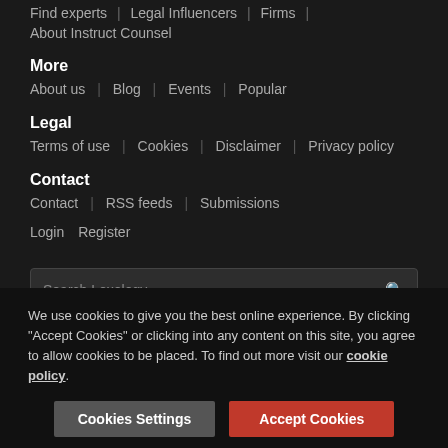Find experts | Legal Influencers | Firms | About Instruct Counsel
More
About us | Blog | Events | Popular
Legal
Terms of use | Cookies | Disclaimer | Privacy policy
Contact
Contact | RSS feeds | Submissions
Login   Register
Search Lexology
We use cookies to give you the best online experience. By clicking "Accept Cookies" or clicking into any content on this site, you agree to allow cookies to be placed. To find out more visit our cookie policy.
Cookies Settings   Accept Cookies